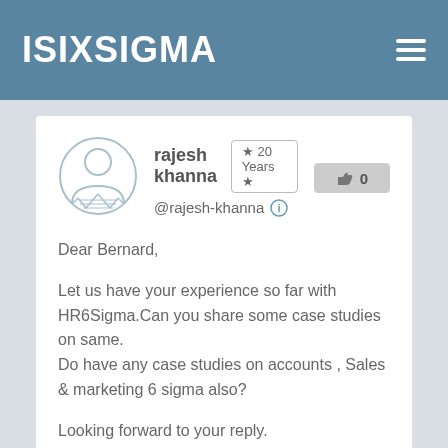ISIXSIGMA
[Figure (illustration): User avatar icon, light blue outline style showing a generic person silhouette]
rajesh khanna  ★ 20 Years ★  @rajesh-khanna  0
Dear Bernard,

Let us have your experience so far with HR6Sigma.Can you share some case studies on same.
Do have any case studies on accounts , Sales & marketing 6 sigma also?

Looking forward to your reply.